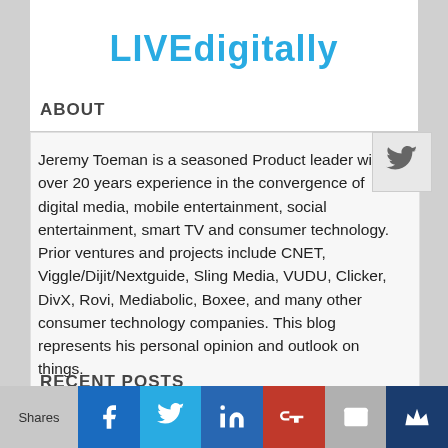LIVEdigitally
ABOUT
Jeremy Toeman is a seasoned Product leader with over 20 years experience in the convergence of digital media, mobile entertainment, social entertainment, smart TV and consumer technology. Prior ventures and projects include CNET, Viggle/Dijit/Nextguide, Sling Media, VUDU, Clicker, DivX, Rovi, Mediabolic, Boxee, and many other consumer technology companies. This blog represents his personal opinion and outlook on things.
RECENT POSTS